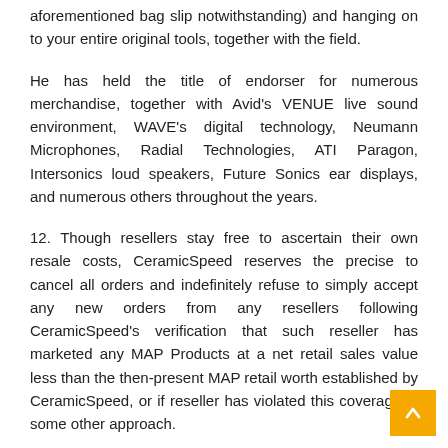aforementioned bag slip notwithstanding) and hanging on to your entire original tools, together with the field.
He has held the title of endorser for numerous merchandise, together with Avid's VENUE live sound environment, WAVE's digital technology, Neumann Microphones, Radial Technologies, ATI Paragon, Intersonics loud speakers, Future Sonics ear displays, and numerous others throughout the years.
12. Though resellers stay free to ascertain their own resale costs, CeramicSpeed reserves the precise to cancel all orders and indefinitely refuse to simply accept any new orders from any resellers following CeramicSpeed's verification that such reseller has marketed any MAP Products at a net retail sales value less than the then-present MAP retail worth established by CeramicSpeed, or if reseller has violated this coverage in some other approach.
IT...